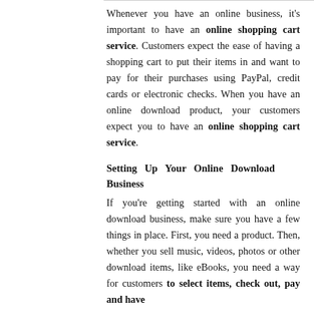Whenever you have an online business, it's important to have an online shopping cart service. Customers expect the ease of having a shopping cart to put their items in and want to pay for their purchases using PayPal, credit cards or electronic checks. When you have an online download product, your customers expect you to have an online shopping cart service.
Setting Up Your Online Download Business
If you're getting started with an online download business, make sure you have a few things in place. First, you need a product. Then, whether you sell music, videos, photos or other download items, like eBooks, you need a way for customers to select items, check out, pay and have